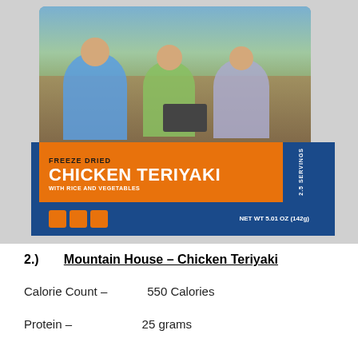[Figure (photo): Product photo of Mountain House Freeze Dried Chicken Teriyaki with Rice and Vegetables packaging. The package shows three people sitting outdoors around a camp stove, with an orange label band showing FREEZE DRIED CHICKEN TERIYAKI WITH RICE AND VEGETABLES, blue bands, and text NET WT 5.01 OZ (142g), 2.5 SERVINGS.]
2.) Mountain House – Chicken Teriyaki
Calorie Count –	550 Calories
Protein –	25 grams